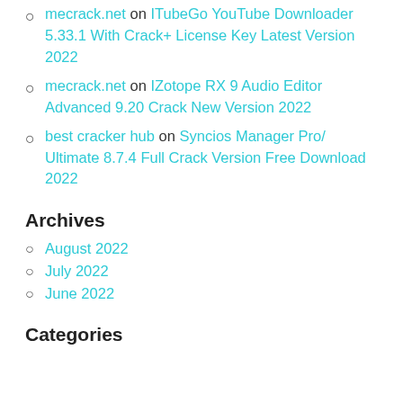mecrack.net on ITubeGo YouTube Downloader 5.33.1 With Crack+ License Key Latest Version 2022
mecrack.net on IZotope RX 9 Audio Editor Advanced 9.20 Crack New Version 2022
best cracker hub on Syncios Manager Pro/ Ultimate 8.7.4 Full Crack Version Free Download 2022
Archives
August 2022
July 2022
June 2022
Categories